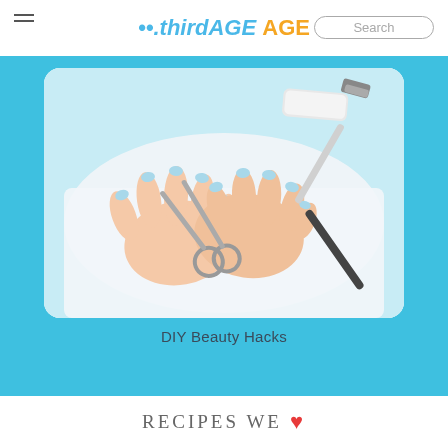thirdAGE | Search
[Figure (photo): Overhead photo of two hands with blue painted nails clasped together on a white surface, surrounded by nail care tools including scissors, a nail file, a nail buffer, and nail clippers]
DIY Beauty Hacks
RECIPES WE ♥